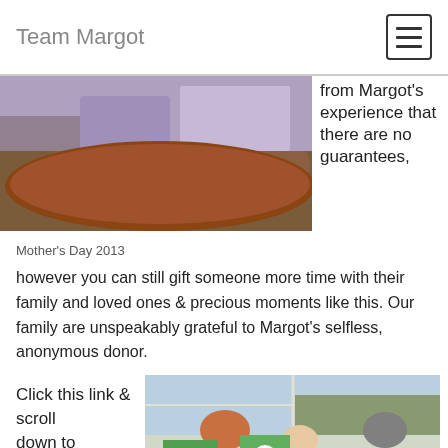Team Margot
[Figure (photo): Photo of people sitting around a wooden table, partial view from above - Mother's Day 2013]
from Margot's experience that there are no guarantees, however you can still gift someone more time with their family and loved ones & precious moments like this. Our family are unspeakably grateful to Margot's selfless, anonymous donor.
Mother's Day 2013
Click this link & scroll down to see our letter to him.
[Figure (photo): Photo of a family celebration scene with flowers, cards, and children at a table by a window]